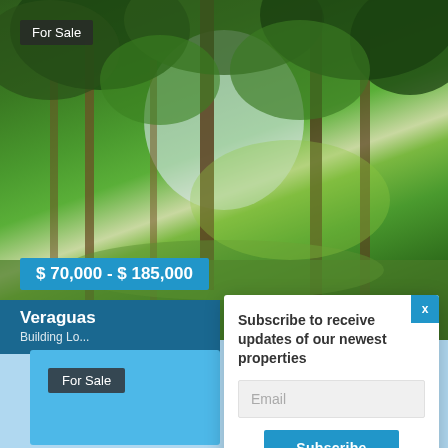[Figure (photo): Forest landscape with tall trees and green canopy, real estate listing photo for land for sale in Veraguas]
For Sale
$ 70,000 - $ 185,000
Veraguas
Building Lot
For Sale
Subscribe to receive updates of our newest properties
Email
Subscribe